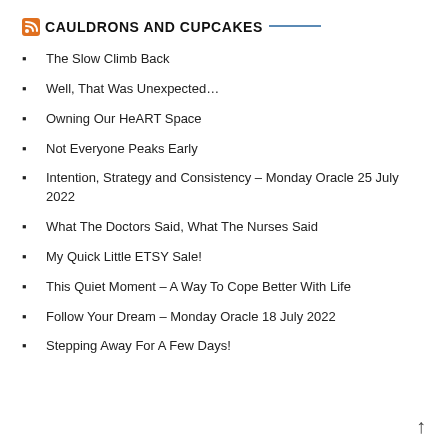CAULDRONS AND CUPCAKES
The Slow Climb Back
Well, That Was Unexpected…
Owning Our HeART Space
Not Everyone Peaks Early
Intention, Strategy and Consistency – Monday Oracle 25 July 2022
What The Doctors Said, What The Nurses Said
My Quick Little ETSY Sale!
This Quiet Moment – A Way To Cope Better With Life
Follow Your Dream – Monday Oracle 18 July 2022
Stepping Away For A Few Days!